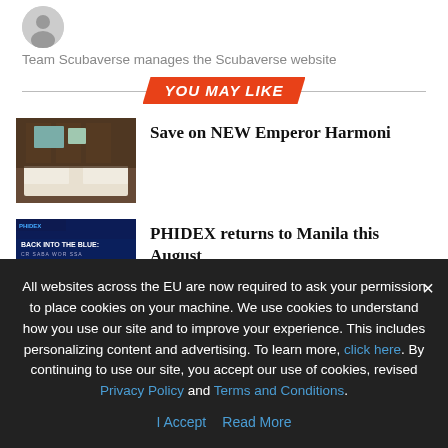[Figure (photo): Gray circular avatar/profile picture placeholder]
Team Scubaverse manages the Scubaverse website
YOU MAY LIKE
[Figure (photo): Interior shot of what appears to be a luxury liveaboard cabin with dark wood paneling and white bedding]
Save on NEW Emperor Harmoni
[Figure (photo): PHIDEX event promotional image with text BACK INTO THE BLUE on blue background with underwater imagery]
PHIDEX returns to Manila this August
[Figure (photo): Partially visible third article thumbnail]
The Big Scuba Debate... with Kris M...
All websites across the EU are now required to ask your permission to place cookies on your machine. We use cookies to understand how you use our site and to improve your experience. This includes personalizing content and advertising. To learn more, click here. By continuing to use our site, you accept our use of cookies, revised Privacy Policy and Terms and Conditions.